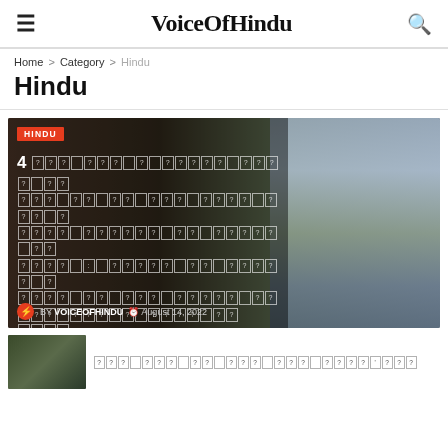VoiceOfHindu
Home > Category > Hindu
Hindu
[Figure (photo): Article card with category badge HINDU, number 4 followed by text boxes with unreadable characters (encoded text), street scene photo on right with person in orange headscarf, byline: BY VOICEOFHINDU, August 14, 2022]
[Figure (photo): Small article card with thumbnail image and text boxes containing unreadable character blocks]